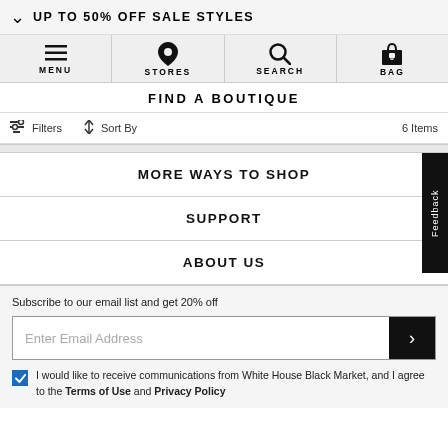UP TO 50% OFF SALE STYLES
MENU  STORES  SEARCH  BAG
FIND A BOUTIQUE
Filters  Sort By  6 Items
MORE WAYS TO SHOP
SUPPORT
ABOUT US
Subscribe to our email list and get 20% off
Enter Email Address
I would like to receive communications from White House Black Market, and I agree to the Terms of Use and Privacy Policy